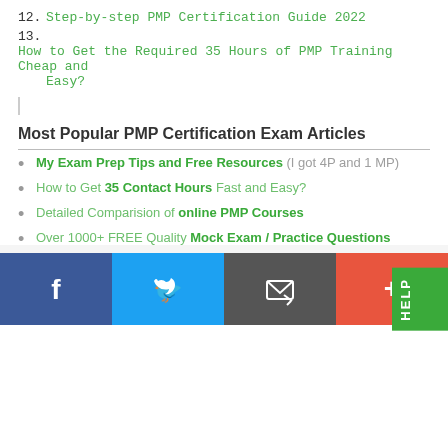12. Step-by-step PMP Certification Guide 2022
13. How to Get the Required 35 Hours of PMP Training Cheap and Easy?
Most Popular PMP Certification Exam Articles
My Exam Prep Tips and Free Resources (I got 4P and 1 MP)
How to Get 35 Contact Hours Fast and Easy?
Detailed Comparision of online PMP Courses
Over 1000+ FREE Quality Mock Exam / Practice Questions
A FREE Guide to Formulas and Calculation (with explanation and sample questions)
47 Commonly Confused Terms with detailed explanation